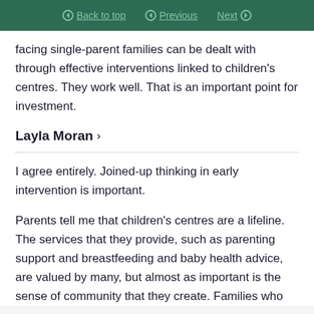Back to top | Previous | Next
facing single-parent families can be dealt with through effective interventions linked to children's centres. They work well. That is an important point for investment.
Layla Moran ›
I agree entirely. Joined-up thinking in early intervention is important.
Parents tell me that children's centres are a lifeline. The services that they provide, such as parenting support and breastfeeding and baby health advice, are valued by many, but almost as important is the sense of community that they create. Families who